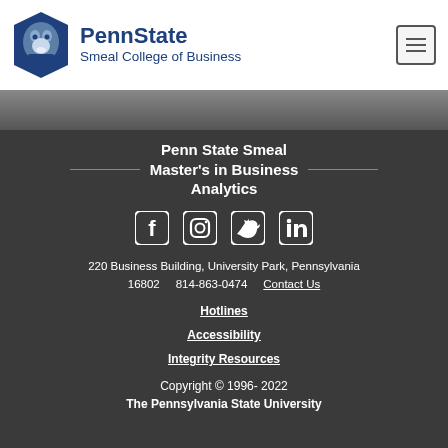[Figure (logo): Penn State Smeal College of Business logo with lion shield icon and text]
[Figure (photo): Partial photo strip showing a person, cropped]
Penn State Smeal Master's in Business Analytics
[Figure (infographic): Social media icons: Facebook, Instagram, Twitter, LinkedIn]
220 Business Building, University Park, Pennsylvania 16802    814-863-0474    Contact Us
Hotlines
Accessibility
Integrity Resources
Copyright © 1996- 2022 The Pennsylvania State University